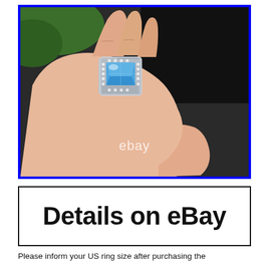[Figure (photo): A hand holding a silver ring with a large rectangular blue topaz gemstone surrounded by small diamonds in a halo setting. The ring is worn on a finger. An eBay watermark is visible in the lower center of the image. The photo has a blue border.]
[Figure (screenshot): A white box with black border containing the text 'Details on eBay' in large bold black font.]
Please inform your US ring size after purchasing the